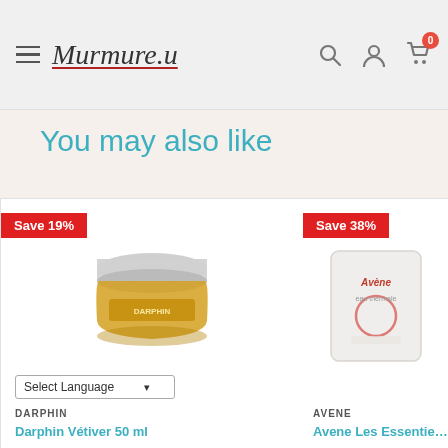Murmure.u — navigation header with search, account, and cart icons
You may also like
[Figure (photo): Darphin cosmetic product jar (amber/gold colored jar with silver lid) with 'Save 19%' badge and Select Language dropdown. Brand: DARPHIN. Product: Darphin Vétiver 50 ml]
[Figure (photo): Avene product tube (white tube with red logo) with 'Save 38%' badge. Brand: AVENE. Product: Avene Les Essentiels (partially visible)]